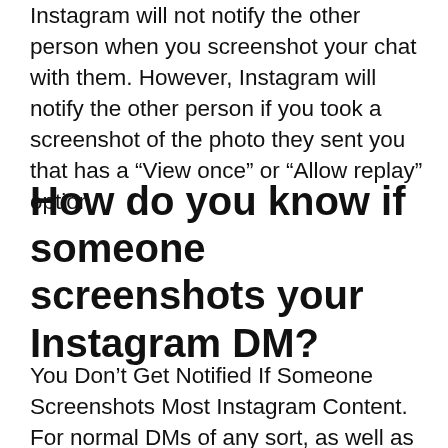Instagram will not notify the other person when you screenshot your chat with them. However, Instagram will notify the other person if you took a screenshot of the photo they sent you that has a “View once” or “Allow replay” option.
How do you know if someone screenshots your Instagram DM?
You Don’t Get Notified If Someone Screenshots Most Instagram Content. For normal DMs of any sort, as well as snapshots and video posts and stories, the recipient or the sender can take screenshots of the message or the image or a frame of the video, and Instagram does not take notice